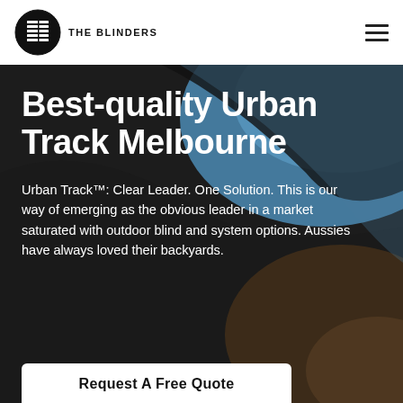[Figure (logo): The Blinders circular logo with horizontal blinds icon in black circle, with text THE BLINDERS below]
[Figure (photo): Dark hero background image showing abstract outdoor blinds/track system in dark and blue tones]
Best-quality Urban Track Melbourne
Urban Track™: Clear Leader. One Solution. This is our way of emerging as the obvious leader in a market saturated with outdoor blind and system options. Aussies have always loved their backyards.
Request A Free Quote